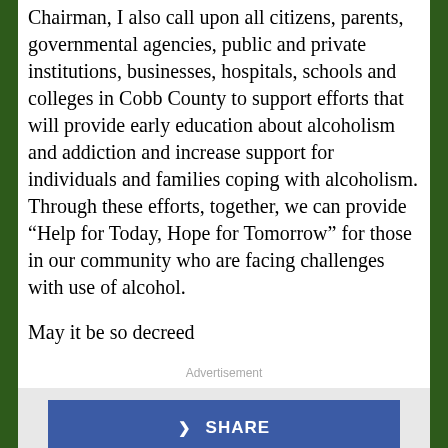Chairman, I also call upon all citizens, parents, governmental agencies, public and private institutions, businesses, hospitals, schools and colleges in Cobb County to support efforts that will provide early education about alcoholism and addiction and increase support for individuals and families coping with alcoholism. Through these efforts, together, we can provide “Help for Today, Hope for Tomorrow” for those in our community who are facing challenges with use of alcohol.
May it be so decreed
Advertisement
[Figure (other): Social sharing buttons: SHARE (blue) and TWEET (light blue)]